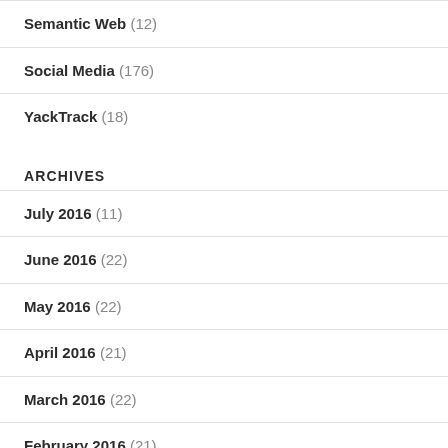Semantic Web (12)
Social Media (176)
YackTrack (18)
ARCHIVES
July 2016 (11)
June 2016 (22)
May 2016 (22)
April 2016 (21)
March 2016 (22)
February 2016 (21)
January 2016 (20)